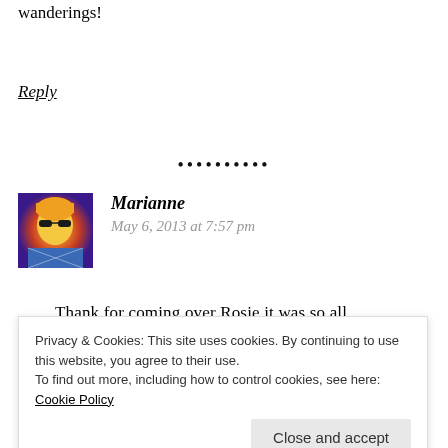wanderings!
Reply
••••••••••
[Figure (photo): Avatar photo of Marianne — colorful pop-art style portrait with sunglasses]
Marianne
May 6, 2013 at 7:57 pm
Thank for coming over Rosie it was so all...
Privacy & Cookies: This site uses cookies. By continuing to use this website, you agree to their use.
To find out more, including how to control cookies, see here: Cookie Policy
Close and accept